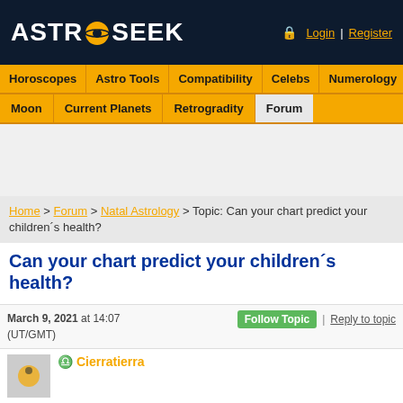[Figure (logo): AstroSeek logo with golden sun/planet icon on dark navy background, with Login and Register links top right]
Horoscopes | Astro Tools | Compatibility | Celebs | Numerology | Guess Sign
Moon | Current Planets | Retrogradity | Forum
Home > Forum > Natal Astrology > Topic: Can your chart predict your children´s health?
Can your chart predict your children´s health?
March 9, 2021 at 14:07 (UT/GMT) | Follow Topic | Reply to topic
Cirratierra